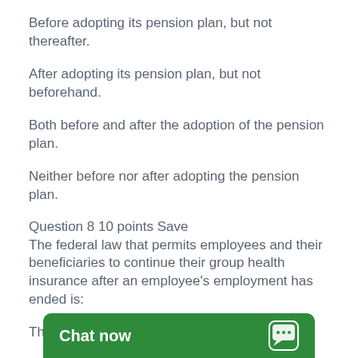Before adopting its pension plan, but not thereafter.
After adopting its pension plan, but not beforehand.
Both before and after the adoption of the pension plan.
Neither before nor after adopting the pension plan.
Question 8 10 points Save
The federal law that permits employees and their beneficiaries to continue their group health insurance after an employee's employment has ended is:
The Occupational Safety and Health Act
The Fair Labor Standards Act
The Consolidated Omnibus Budget Reconciliation Act
The Employee Retirement Income Security Act
Question 9 10 points Save
Sam operates a small bu to his employees, "I'm no